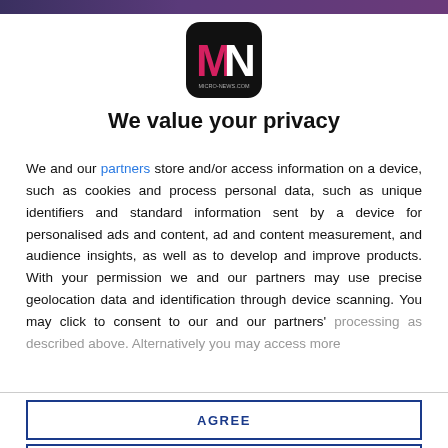[Figure (logo): MN logo — black rounded square with pink M and white N letters, micro-news.com branding]
We value your privacy
We and our partners store and/or access information on a device, such as cookies and process personal data, such as unique identifiers and standard information sent by a device for personalised ads and content, ad and content measurement, and audience insights, as well as to develop and improve products. With your permission we and our partners may use precise geolocation data and identification through device scanning. You may click to consent to our and our partners' processing as described above. Alternatively you may access more
AGREE
MORE OPTIONS